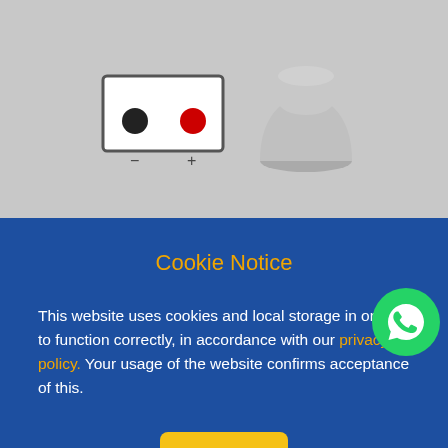[Figure (illustration): Battery terminal diagram showing negative (black circle, minus) and positive (red circle, plus) terminals, alongside a 3D rendered gray cylindrical knob/cap component]
Cookie Notice
This website uses cookies and local storage in order to function correctly, in accordance with our privacy policy. Your usage of the website confirms acceptance of this.
Ok
| Capacity (S20) | ... |
| CCA (EN) |  |
| Length |  |
| Width | 129 mm |
| Height inc. terms | 227 mm |